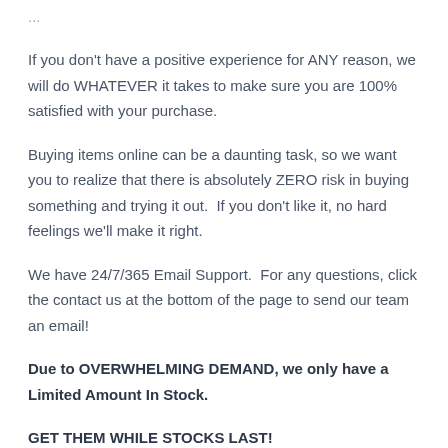...
If you don't have a positive experience for ANY reason, we will do WHATEVER it takes to make sure you are 100% satisfied with your purchase.
Buying items online can be a daunting task, so we want you to realize that there is absolutely ZERO risk in buying something and trying it out.  If you don't like it, no hard feelings we'll make it right.
We have 24/7/365 Email Support.  For any questions, click the contact us at the bottom of the page to send our team an email!
Due to OVERWHELMING DEMAND, we only have a Limited Amount In Stock.
GET THEM WHILE STOCKS LAST!